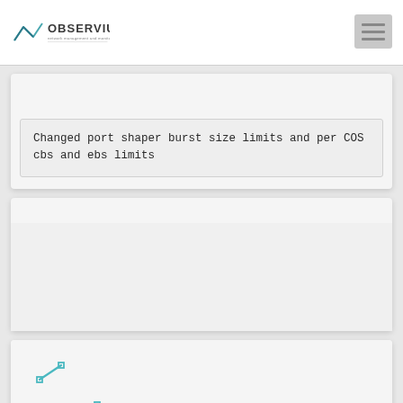Observium — network management and monitoring
Changed port shaper burst size limits and per COS cbs and ebs limits
[Figure (other): Empty card/panel area, possibly a chart or data section with no visible content]
[Figure (line-chart): Partial line chart showing small line segments in teal/cyan color, chart is partially cut off at bottom of page]